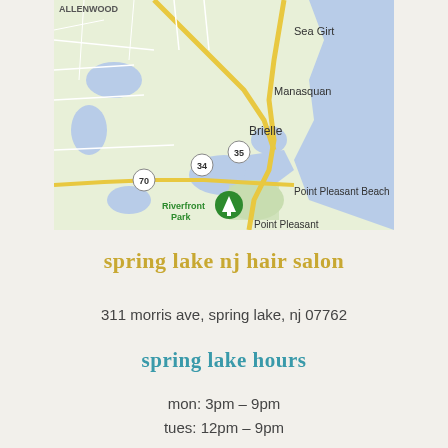[Figure (map): Google Maps screenshot showing coastal New Jersey area including Allenwood, Sea Girt, Manasquan, Brielle, Point Pleasant Beach, Point Pleasant, and Riverfront Park. Routes 34, 35, and 70 are visible. The ocean/bay is shown in blue on the right side.]
spring lake nj hair salon
311 morris ave, spring lake, nj 07762
spring lake hours
mon: 3pm – 9pm
tues: 12pm – 9pm